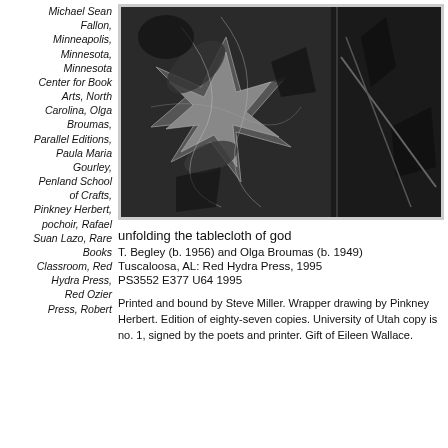Michael Sean Fallon, Minneapolis, Minnesota, Minnesota Center for Book Arts, North Carolina, Olga Broumas, Parallel Editions, Paula Maria Gourley, Penland School of Crafts, Pinkney Herbert, pochoir, Rafael Suan Lazo, Rare Books Classroom, Red Hydra Press, Red Ozier Press, Robert
[Figure (photo): Black and white artwork showing abstract swirling and geometric patterns, possibly a woodcut or print, displayed in a framed horizontal format.]
unfolding the tablecloth of god
T. Begley (b. 1956) and Olga Broumas (b. 1949)
Tuscaloosa, AL: Red Hydra Press, 1995
PS3552 E377 U64 1995
Printed and bound by Steve Miller. Wrapper drawing by Pinkney Herbert. Edition of eighty-seven copies. University of Utah copy is no. 1, signed by the poets and printer. Gift of Eileen Wallace.